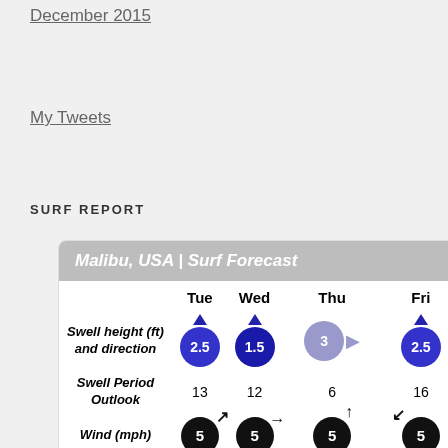December 2015
My Tweets
SURF REPORT
[Figure (table-as-image): Malibu, USA Surf Forecast widget showing swell height and direction, swell period outlook, wind (mph), and buoy weather for Tue, Wed, Thu, Fri. Values: Swell height: 2.5, 1.5, 3, 2.5. Swell Period: 13, 12, 6, 16. Wind: 5, 5, 5, 5. Buoy Weather: 3.5, Santa Monica Bay CA.]